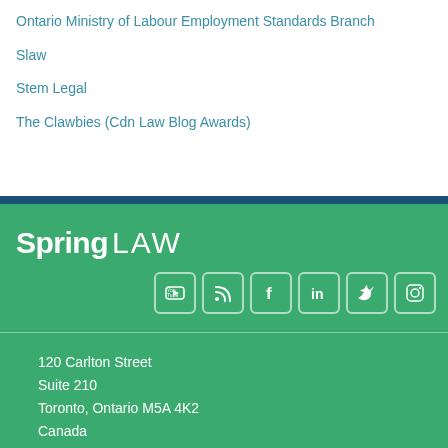Ontario Ministry of Labour Employment Standards Branch
Slaw
Stem Legal
The Clawbies (Cdn Law Blog Awards)
[Figure (logo): Spring Law logo in white text on green background]
[Figure (infographic): Social media icons: YouTube, RSS, Facebook, LinkedIn, Twitter, Instagram]
120 Carlton Street
Suite 210
Toronto, Ontario M5A 4K2
Canada